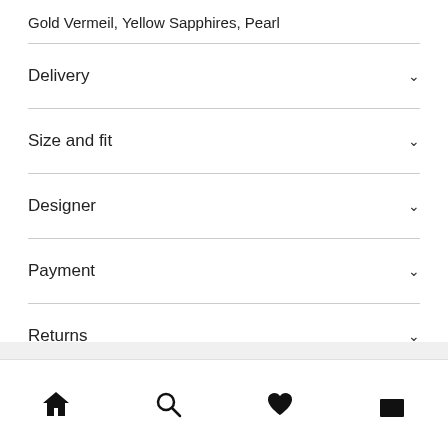Gold Vermeil, Yellow Sapphires, Pearl
Delivery
Size and fit
Designer
Payment
Returns
Warranty
Home | Search | Wishlist | Bag